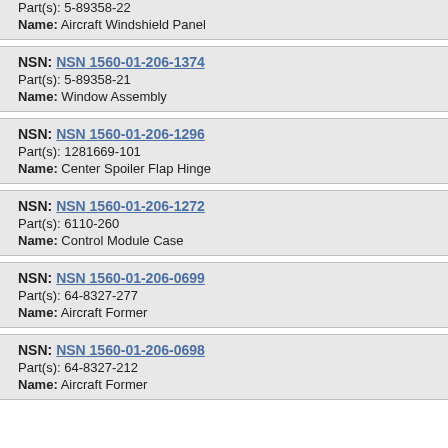Part(s): 5-89358-22
Name: Aircraft Windshield Panel
NSN: NSN 1560-01-206-1374
Part(s): 5-89358-21
Name: Window Assembly
NSN: NSN 1560-01-206-1296
Part(s): 1281669-101
Name: Center Spoiler Flap Hinge
NSN: NSN 1560-01-206-1272
Part(s): 6110-260
Name: Control Module Case
NSN: NSN 1560-01-206-0699
Part(s): 64-8327-277
Name: Aircraft Former
NSN: NSN 1560-01-206-0698
Part(s): 64-8327-212
Name: Aircraft Former